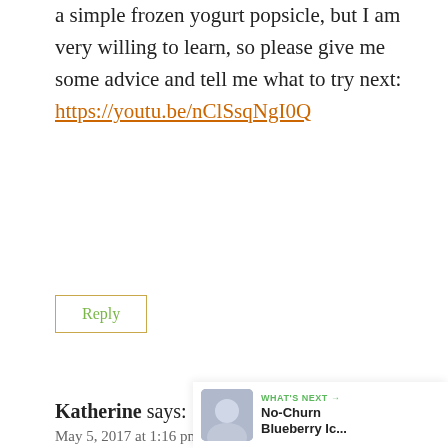a simple frozen yogurt popsicle, but I am very willing to learn, so please give me some advice and tell me what to try next: https://youtu.be/nClSsqNgI0Q
Reply
Katherine says: May 5, 2017 at 1:16 pm
Love how simple and healthy these are. Saving to try!